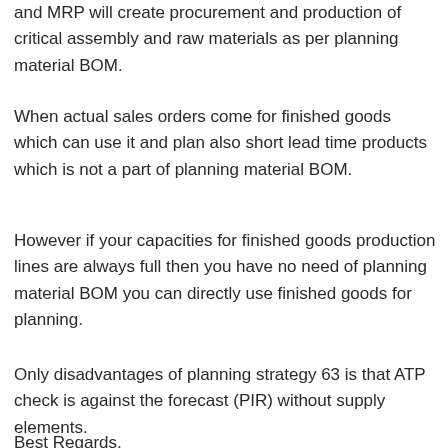and MRP will create procurement and production of critical assembly and raw materials as per planning material BOM.
When actual sales orders come for finished goods which can use it and plan also short lead time products which is not a part of planning material BOM.
However if your capacities for finished goods production lines are always full then you have no need of planning material BOM you can directly use finished goods for planning.
Only disadvantages of planning strategy 63 is that ATP check is against the forecast (PIR) without supply elements.
Best Regards,